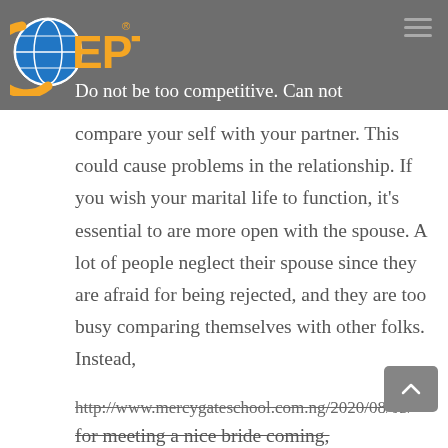[Figure (logo): GEPT logo with globe icon in orange and blue, and registered trademark symbol]
Do not be too competitive. Can not
compare your self with your partner. This could cause problems in the relationship. If you wish your marital life to function, it’s essential to are more open with the spouse. A lot of people neglect their spouse since they are afraid for being rejected, and they are too busy comparing themselves with other folks. Instead,
http://www.mercygateschool.com.ng/2020/08/03/
for meeting a nice bride coming,